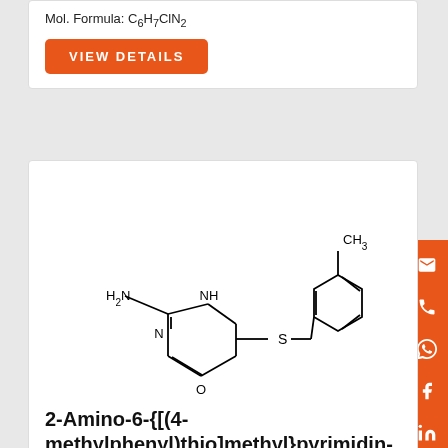Mol. Formula: C6H7ClN2
VIEW DETAILS
[Figure (chemical-structure): Chemical structure of 2-Amino-6-{[(4-methylphenyl)thio]methyl}pyrimidin-4-ol showing a pyrimidine ring with amino group, thioether linkage to 4-methylphenyl group, and ketone group.]
2-Amino-6-{[(4-methylphenyl)thio]methyl}pyrimidin-4-ol
Product Code: A00009780
Chemical Name: 2-Amino-6-{[(4-methylphenyl)thio]methyl}pyrimidin-4-ol